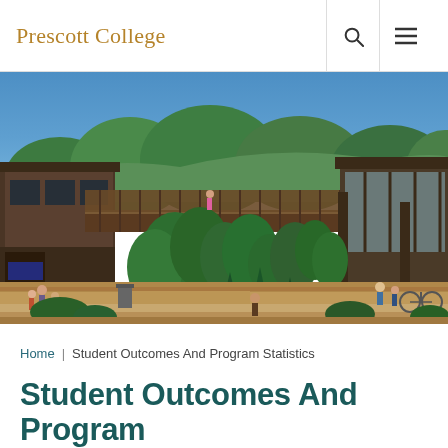Prescott College
[Figure (photo): Aerial/elevated view of Prescott College campus showing wooden architecture buildings with large glass windows connected by a walkway/bridge, surrounded by lush green trees and vegetation. Several people visible on ground level pathways. Blue sky with some clouds visible above the tree line.]
Home | Student Outcomes And Program Statistics
Student Outcomes And Program Statistics